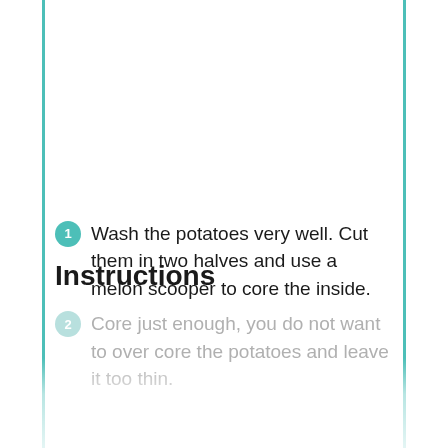[Figure (photo): White/empty image area at the top of the page]
Instructions
Wash the potatoes very well. Cut them in two halves and use a melon scooper to core the inside.
Core just enough, you do not want to over core the potatoes and leave it too thin.